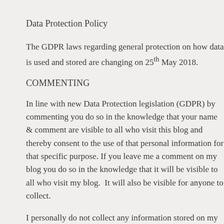Data Protection Policy
The GDPR laws regarding general protection on how data is used and stored are changing on 25th May 2018.
COMMENTING
In line with new Data Protection legislation (GDPR) by commenting you do so in the knowledge that your name & comment are visible to all who visit this blog and thereby consent to the use of that personal information for that specific purpose. If you leave me a comment on my blog you do so in the knowledge that it will be visible to all who visit my blog.  It will also be visible for anyone to collect.
I personally do not collect any information stored on my blog.
If you have left a comment and don't want it to be seen, then